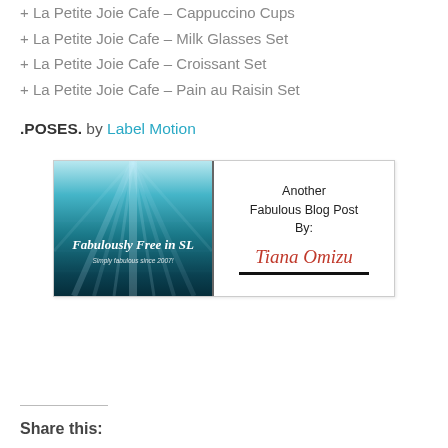+ La Petite Joie Cafe – Cappuccino Cups
+ La Petite Joie Cafe – Milk Glasses Set
+ La Petite Joie Cafe – Croissant Set
+ La Petite Joie Cafe – Pain au Raisin Set
.POSES. by Label Motion
[Figure (illustration): Blog badge for 'Fabulously Free in SL' with teal/blue light rays background on the left showing the blog name and tagline 'Simply fabulous since 2007!', and on the right text reading 'Another Fabulous Blog Post By: Tiana Omizu' with a signature in red cursive and a black underline.]
Share this: